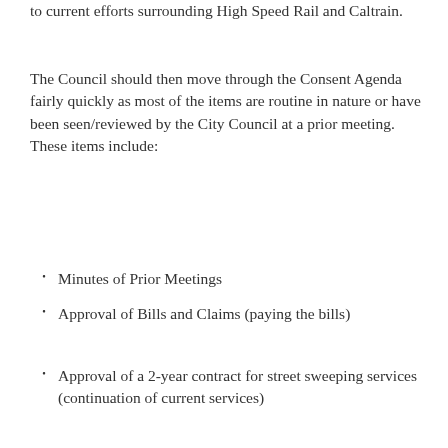to current efforts surrounding High Speed Rail and Caltrain.
The Council should then move through the Consent Agenda fairly quickly as most of the items are routine in nature or have been seen/reviewed by the City Council at a prior meeting. These items include:
Minutes of Prior Meetings
Approval of Bills and Claims (paying the bills)
Approval of a 2-year contract for street sweeping services (continuation of current services)
Approval of the Middlefield Road/Oak Grove Intersection Improvement Plans & Specs - Authorization to Bid the Project
Authorization for an RFP for Design and the filing of a Grant Application for Bicycle Improvements on Middlefield